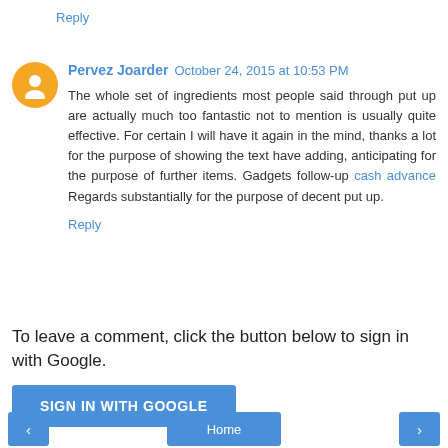Reply
Pervez Joarder  October 24, 2015 at 10:53 PM
The whole set of ingredients most people said through put up are actually much too fantastic not to mention is usually quite effective. For certain I will have it again in the mind, thanks a lot for the purpose of showing the text have adding, anticipating for the purpose of further items. Gadgets follow-up cash advance Regards substantially for the purpose of decent put up.
Reply
To leave a comment, click the button below to sign in with Google.
SIGN IN WITH GOOGLE
‹  Home  ›